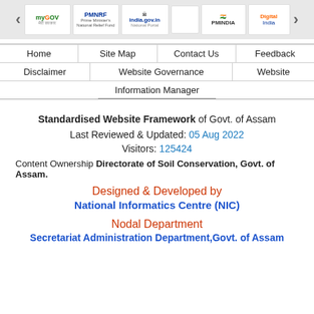[Figure (screenshot): Government of India website logos banner with navigation arrows: myGov, PMNRF, india.gov.in, blank, PMINDIA, Digital India]
Home | Site Map | Contact Us | Feedback | Disclaimer | Website Governance | Website | Information Manager
Standardised Website Framework of Govt. of Assam
Last Reviewed & Updated: 05 Aug 2022
Visitors: 125424
Content Ownership Directorate of Soil Conservation, Govt. of Assam.
Designed & Developed by National Informatics Centre (NIC)
Nodal Department Secretariat Administration Department,Govt. of Assam